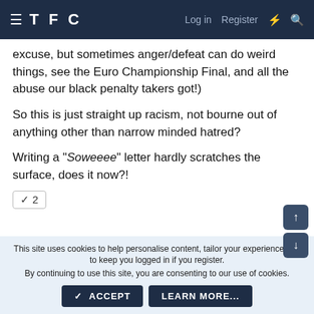TFC   Log in   Register
excuse, but sometimes anger/defeat can do weird things, see the Euro Championship Final, and all the abuse our black penalty takers got!)
So this is just straight up racism, not bourne out of anything other than narrow minded hatred?
Writing a "Soweeee" letter hardly scratches the surface, does it now?!
✓ 2
This site uses cookies to help personalise content, tailor your experience and to keep you logged in if you register.
By continuing to use this site, you are consenting to our use of cookies.